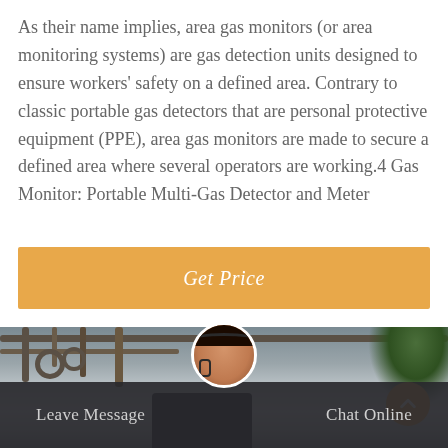As their name implies, area gas monitors (or area monitoring systems) are gas detection units designed to ensure workers' safety on a defined area. Contrary to classic portable gas detectors that are personal protective equipment (PPE), area gas monitors are made to secure a defined area where several operators are working.4 Gas Monitor: Portable Multi-Gas Detector and Meter
Get Price
[Figure (photo): Industrial setting with overhead pipes and plant, a monitor/screen visible in the lower center, with a customer service representative avatar and chat interface overlay.]
Leave Message
Chat Online